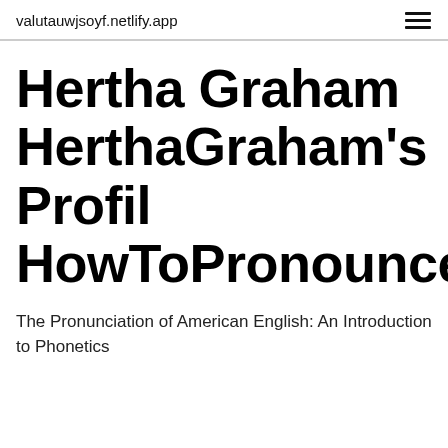valutauwjsoyf.netlify.app
Hertha Graham HerthaGraham's Profil HowToPronounce.com
The Pronunciation of American English: An Introduction to Phonetics